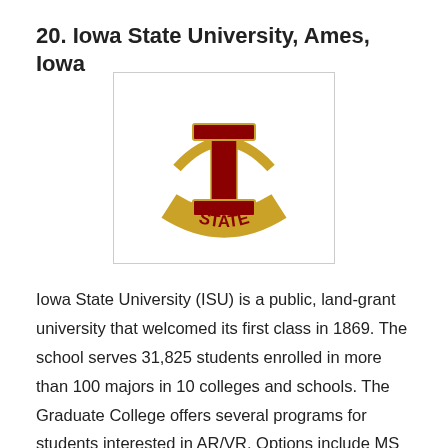20. Iowa State University, Ames, Iowa
[Figure (logo): Iowa State University logo featuring a bold red stylized 'I' with 'STATE' in gold arched lettering across the middle]
Iowa State University (ISU) is a public, land-grant university that welcomed its first class in 1869. The school serves 31,825 students enrolled in more than 100 majors in 10 colleges and schools. The Graduate College offers several programs for students interested in AR/VR. Options include MS and PhD degrees in Human-Computer Interaction (HCI) and a Master of Human-Computer